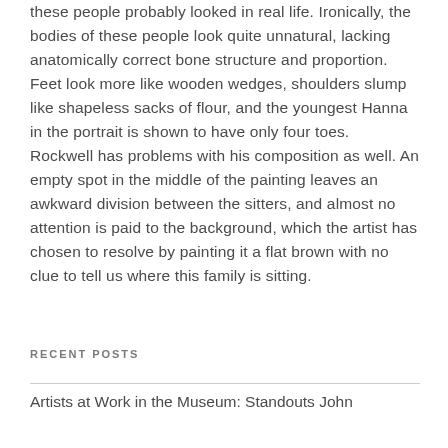these people probably looked in real life. Ironically, the bodies of these people look quite unnatural, lacking anatomically correct bone structure and proportion. Feet look more like wooden wedges, shoulders slump like shapeless sacks of flour, and the youngest Hanna in the portrait is shown to have only four toes.  Rockwell has problems with his composition as well. An empty spot in the middle of the painting leaves an awkward division between the sitters, and almost no attention is paid to the background, which the artist has chosen to resolve by painting it a flat brown with no clue to tell us where this family is sitting.
RECENT POSTS
Artists at Work in the Museum: Standouts John